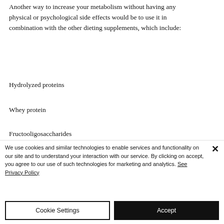Another way to increase your metabolism without having any physical or psychological side effects would be to use it in combination with the other dieting supplements, which include:
Hydrolyzed proteins
Whey protein
Fructooligosaccharides
We use cookies and similar technologies to enable services and functionality on our site and to understand your interaction with our service. By clicking on accept, you agree to our use of such technologies for marketing and analytics. See Privacy Policy